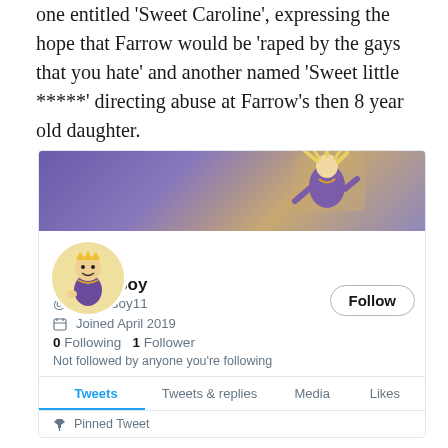one entitled 'Sweet Caroline', expressing the hope that Farrow would be 'raped by the gays that you hate' and another named 'Sweet little *****' directing abuse at Farrow's then 8 year old daughter.
[Figure (screenshot): Twitter profile screenshot for @PuppetBoy11 (Puppet Boy). Banner shows a puppet figure in purple outfit. Profile shows avatar of puppet with crown, Follow button, name 'Puppet Boy', handle '@PuppetBoy11', joined April 2019, 0 Following, 1 Follower, 'Not followed by anyone you're following', tabs: Tweets (active), Tweets & replies, Media, Likes, and Pinned Tweet row.]